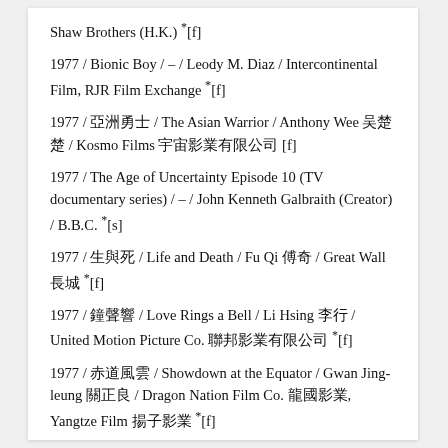Shaw Brothers (H.K.) *[f]
1977 / Bionic Boy / – / Leody M. Diaz / Intercontinental Film, RJR Film Exchange *[f]
1977 / 亞洲勇士 / The Asian Warrior / Anthony Wee 吳楚楚 / Kosmo Films 宇宙影業有限公司 [f]
1977 / The Age of Uncertainty Episode 10 (TV documentary series) / – / John Kenneth Galbraith (Creator) / B.B.C. *[s]
1977 / 生與死 / Life and Death / Fu Qi 傅奇 / Great Wall 長城 *[f]
1977 / 鐘聲響 / Love Rings a Bell / Li Hsing 李行 / United Motion Picture Co. 聯邦影業有限公司 *[f]
1977 / 赤道風雲 / Showdown at the Equator / Gwan Jing-leung 關正良 / Dragon Nation Film Co. 龍國影業, Yangtze Film 揚子影業 *[f]
1977 / 追逐 / The Chase / David Chung Chi-man 鐘志文 & Da Bing 大冰 / Gorgeous Xin Film 新 *[f]